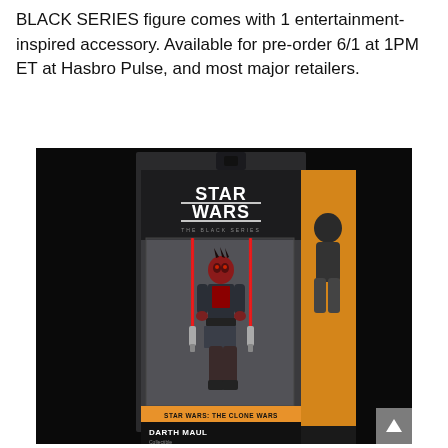BLACK SERIES figure comes with 1 entertainment-inspired accessory. Available for pre-order 6/1 at 1PM ET at Hasbro Pulse, and most major retailers.
[Figure (photo): Star Wars The Black Series Darth Maul action figure in packaging. The box shows Star Wars The Clone Wars branding with a Darth Maul figure holding a double-bladed red lightsaber. The box includes a WARNING label and age 4+ indicator with Hasbro logo. The right side of the box shows an orange panel with another figure visible.]